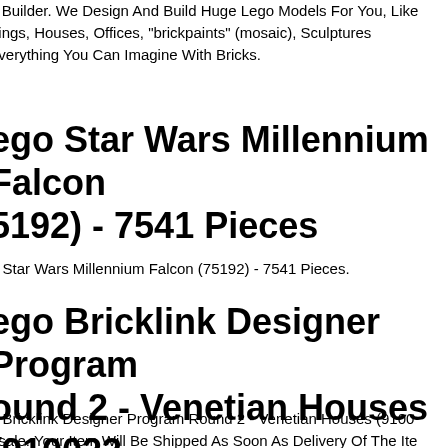k Builder. We Design And Build Huge Lego Models For You, Like dings, Houses, Offices, "brickpaints" (mosaic), Sculptures everything You Can Imagine With Bricks.
ego Star Wars Millennium Falcon 5192) - 7541 Pieces
o Star Wars Millennium Falcon (75192) - 7541 Pieces.
ego Bricklink Designer Program ound 2 - Venetian Houses (910023 Presale
o Bricklink Designer Program Round 2 - Venetian Houses (9100 esale. Your Item Will Be Shipped As Soon As Delivery Of The Ite eceived From Lego. This Delivery Date Is Currently Expected T k Of August 23rd, 2022. By Purchasing This Item You Understa